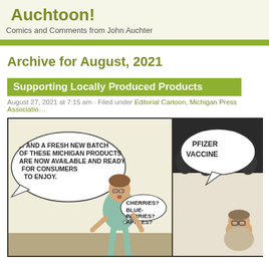Auchtoon!
Comics and Comments from John Auchter
Archive for August, 2021
Supporting Locally Produced Products
August 27, 2021 at 7:15 am · Filed under Editorial Cartoon, Michigan Press Association
[Figure (illustration): Two-panel comic strip. Left panel shows a figure listening to a speech bubble saying '... AND A FRESH NEW BATCH OF THESE MICHIGAN PRODUCTS ARE NOW AVAILABLE AND READY FOR CONSUMERS TO ENJOY.' with a person thinking 'CHERRIES? BLUE-BERRIES? APPLES?' Right panel shows a speech bubble saying 'PFIZER VACCINE' with a person with glasses visible.]